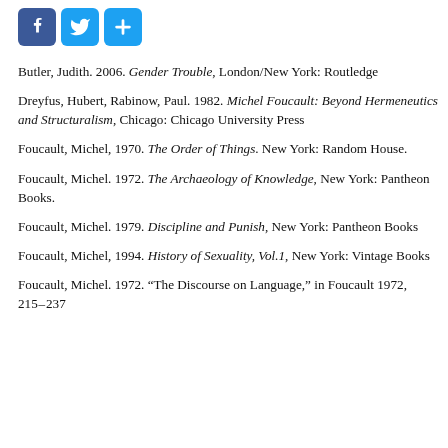[Figure (other): Social sharing buttons: Facebook, Twitter, and a plus/share button]
Butler, Judith. 2006. Gender Trouble, London/New York: Routledge
Dreyfus, Hubert, Rabinow, Paul. 1982. Michel Foucault: Beyond Hermeneutics and Structuralism, Chicago: Chicago University Press
Foucault, Michel, 1970. The Order of Things. New York: Random House.
Foucault, Michel. 1972. The Archaeology of Knowledge, New York: Pantheon Books.
Foucault, Michel. 1979. Discipline and Punish, New York: Pantheon Books
Foucault, Michel, 1994. History of Sexuality, Vol.1, New York: Vintage Books
Foucault, Michel. 1972. “The Discourse on Language,” in Foucault 1972, 215–237